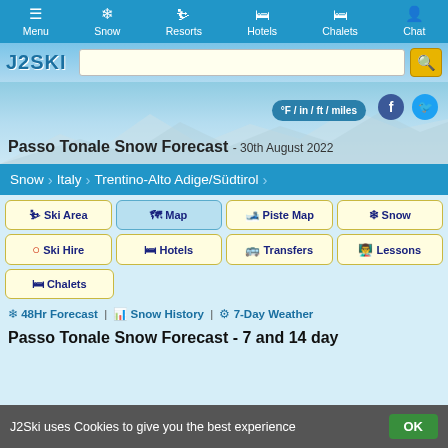Menu | Snow | Resorts | Hotels | Chalets | Chat
[Figure (screenshot): J2Ski logo and search bar with yellow search button]
[Figure (photo): Mountain snow landscape background with unit toggle, Facebook and Twitter icons]
Passo Tonale Snow Forecast - 30th August 2022
Snow > Italy > Trentino-Alto Adige/Südtirol
Ski Area
Map
Piste Map
Snow
Ski Hire
Hotels
Transfers
Lessons
Chalets
❄ 48Hr Forecast | 📊 Snow History | ⚙ 7-Day Weather
Passo Tonale Snow Forecast - 7 and 14 day
J2Ski uses Cookies to give you the best experience  OK